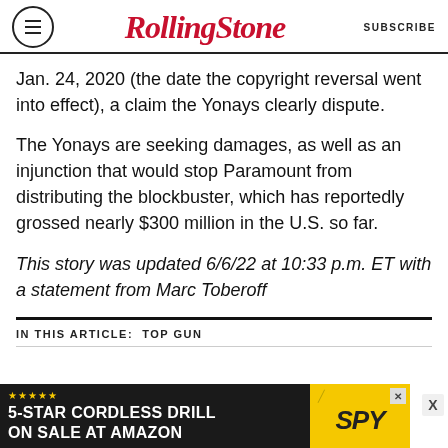RollingStone | SUBSCRIBE
Jan. 24, 2020 (the date the copyright reversal went into effect), a claim the Yonays clearly dispute.
The Yonays are seeking damages, as well as an injunction that would stop Paramount from distributing the blockbuster, which has reportedly grossed nearly $300 million in the U.S. so far.
This story was updated 6/6/22 at 10:33 p.m. ET with a statement from Marc Toberoff
IN THIS ARTICLE: Top Gun
[Figure (screenshot): Advertisement banner: 5-STAR CORDLESS DRILL ON SALE AT AMAZON with SPY logo on yellow background]